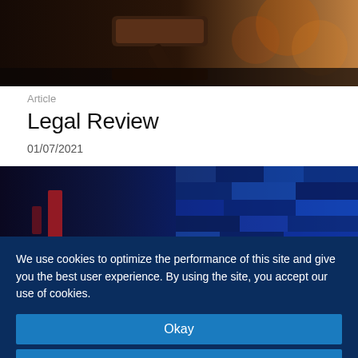[Figure (photo): Close-up of a wooden gavel resting on a reflective surface with warm bokeh background]
Article
Legal Review
01/07/2021
[Figure (photo): Abstract blue digital background with code snippet text overlay reading 'cultures/></>>']
We use cookies to optimize the performance of this site and give you the best user experience. By using the site, you accept our use of cookies.
Okay
Manage Cookies